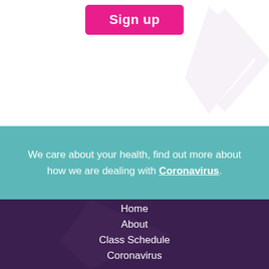[Figure (illustration): Sign up button (pink/magenta rounded rectangle) at top center, with a faint watermark graphic in the upper right corner on a white background.]
We care about your health, find out more about how we are dealing with Coronavirus.
Home
About
Class Schedule
Coronavirus